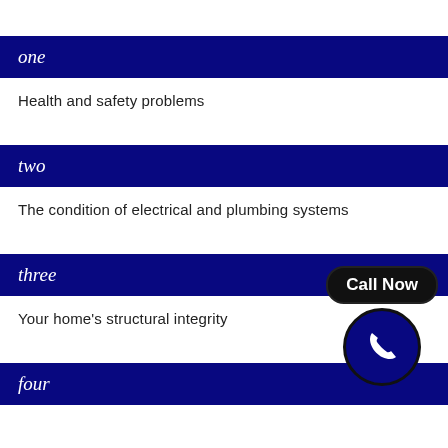one
Health and safety problems
two
The condition of electrical and plumbing systems
three
Your home's structural integrity
four